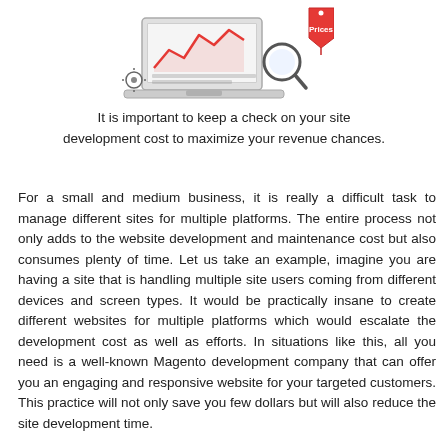[Figure (illustration): An illustration showing a laptop with a line chart, a magnifying glass, and a price tag labeled 'Prices', representing website development cost monitoring.]
It is important to keep a check on your site development cost to maximize your revenue chances.
For a small and medium business, it is really a difficult task to manage different sites for multiple platforms. The entire process not only adds to the website development and maintenance cost but also consumes plenty of time. Let us take an example, imagine you are having a site that is handling multiple site users coming from different devices and screen types. It would be practically insane to create different websites for multiple platforms which would escalate the development cost as well as efforts. In situations like this, all you need is a well-known Magento development company that can offer you an engaging and responsive website for your targeted customers. This practice will not only save you few dollars but will also reduce the site development time.